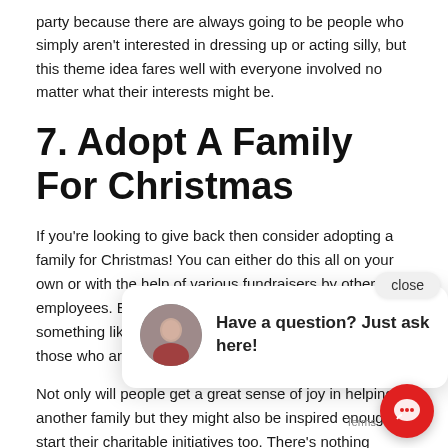party because there are always going to be people who simply aren't interested in dressing up or acting silly, but this theme idea fares well with everyone involved no matter what their interests might be.
7. Adopt A Family For Christmas
If you're looking to give back then consider adopting a family for Christmas! You can either do this all on your own or with the help of various fundraisers by other employees. Everyone must work together to pull off something like this because it can definitely benefit those who are receiving these generous gifts as well!
Not only will people get a great sense of joy in helping another family but they might also be inspired enough to start their charitable initiatives too. There's nothing wrong with simply donating money through an online fund, but there's so much more than you could imagine if you were able to meet these families face to face. And considering how close we've already gotten